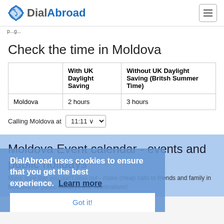DialAbroad
Check the time in Moldova
|  | With UK Daylight Saving | Without UK Daylight Saving (Britsh Summer Time) |
| --- | --- | --- |
| Moldova | 2 hours | 3 hours |
Calling Moldova at 11:11
Moldova Event calendar - events and public holidays
Make sure that you don't miss out - make cheap calls to friends and family in Moldova for public holidays and celebrations!
DialAbroad uses cookies to ensure that you get the best experience. Learn more Got it!